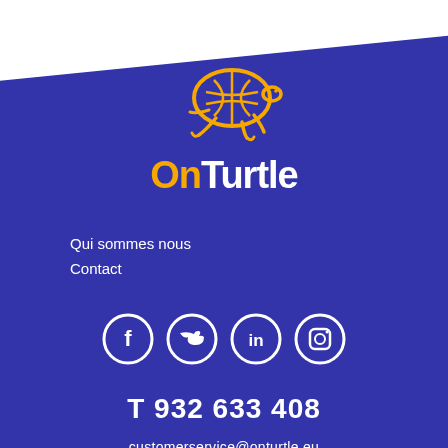[Figure (logo): OnTurtle logo: turtle illustration in yellow/orange outline, with text 'On' in yellow and 'Turtle' in white, bold sans-serif font, on blue background]
Qui sommes nous
Contact
[Figure (infographic): Row of four social media icons in white circles with dark blue outlines: Facebook, Twitter, LinkedIn, Instagram]
T 932 633 408
customerservice@onturtle.eu